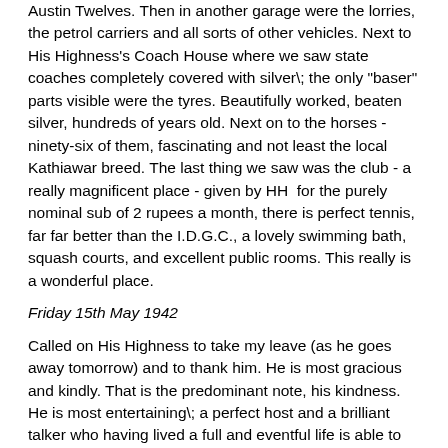Austin Twelves. Then in another garage were the lorries, the petrol carriers and all sorts of other vehicles. Next to His Highness's Coach House where we saw state coaches completely covered with silver\; the only "baser" parts visible were the tyres. Beautifully worked, beaten silver, hundreds of years old. Next on to the horses - ninety-six of them, fascinating and not least the local Kathiawar breed. The last thing we saw was the club - a really magnificent place - given by HH  for the purely nominal sub of 2 rupees a month, there is perfect tennis, far far better than the I.D.G.C., a lovely swimming bath, squash courts, and excellent public rooms. This really is a wonderful place.
Friday 15th May 1942
Called on His Highness to take my leave (as he goes away tomorrow) and to thank him. He is most gracious and kindly. That is the predominant note, his kindness. He is most entertaining\; a perfect host and a brilliant talker who having lived a full and eventful life is able to tell many a good yarn of his army days. This he does with gusto and a flair which makes his stories so exceedingly worthwhile listening to. I also had the privilege of my first long conversation with Duleep (the